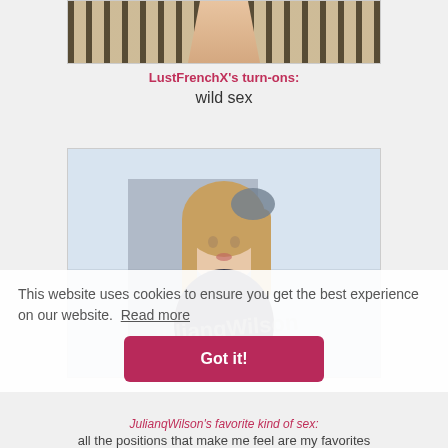[Figure (photo): Top portion of a woman in a black harness/strap outfit against a striped background, cropped at torso]
LustFrenchX's turn-ons:
wild sex
[Figure (photo): Young woman with long blonde hair holding her head, wearing a dark leather jacket, against a light blue/grey background, with a watermark overlay]
This website uses cookies to ensure you get the best experience on our website. Read more
Got it!
JulianqWilson's favorite kind of sex:
all the positions that make me feel are my favorites